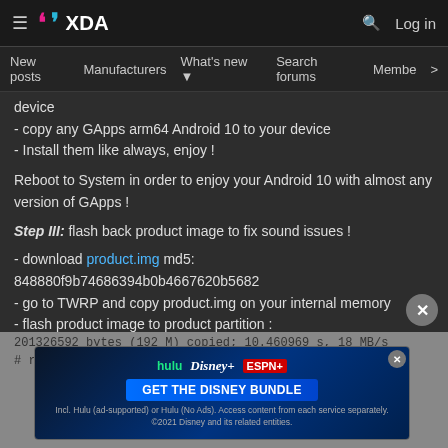XDA — Log in
New posts  Manufacturers  What's new  Search forums  Members  >
device
- copy any GApps arm64 Android 10 to your device
- Install them like always, enjoy !
Reboot to System in order to enjoy your Android 10 with almost any version of GApps !
Step III: flash back product image to fix sound issues !
- download product.img md5: 848880f9b74686394b0b4667620b5682
- go to TWRP and copy product.img on your internal memory
- flash product image to product partition :
> adb shell
# dd if=/sdcard/product.img of=/dev/block/bootdevice/by-name...
3932...
3932...
201326592 bytes (192 M) copied; 10.460969 s, 18 MB/s
# reboot
[Figure (screenshot): Disney Bundle advertisement banner with Hulu, Disney+, ESPN+ logos and 'GET THE DISNEY BUNDLE' call to action]